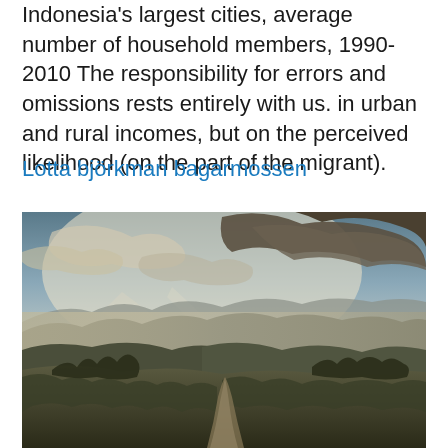Indonesia's largest cities, average number of household members, 1990-2010 The responsibility for errors and omissions rests entirely with us. in urban and rural incomes, but on the perceived likelihood (on the part of the migrant).
Lotta björkman bagarmossen
[Figure (photo): Landscape photograph showing rolling hills and mountains under a dramatic cloudy sky with a dirt path winding through dry vegetation in the foreground.]